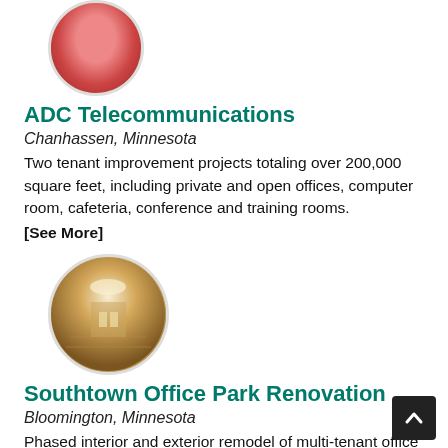[Figure (photo): Circular thumbnail photo of ADC Telecommunications building interior/exterior with reddish tones]
ADC Telecommunications
Chanhassen, Minnesota
Two tenant improvement projects totaling over 200,000 square feet, including private and open offices, computer room, cafeteria, conference and training rooms.
[See More]
[Figure (photo): Circular thumbnail photo of a lobby interior with warm golden lighting and marble floors]
Southtown Office Park Renovation
Bloomington, Minnesota
Phased interior and exterior remodel of multi-tenant office building, including renovation of lobby